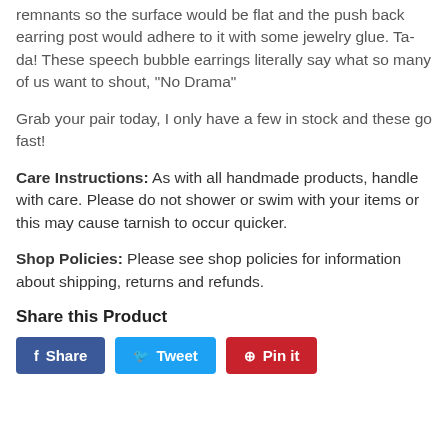remnants so the surface would be flat and the push back earring post would adhere to it with some jewelry glue. Ta-da! These speech bubble earrings literally say what so many of us want to shout, "No Drama"
Grab your pair today, I only have a few in stock and these go fast!
Care Instructions: As with all handmade products, handle with care. Please do not shower or swim with your items or this may cause tarnish to occur quicker.
Shop Policies: Please see shop policies for information about shipping, returns and refunds.
Share this Product
[Figure (other): Social share buttons: Facebook Share, Twitter Tweet, Pinterest Pin it]